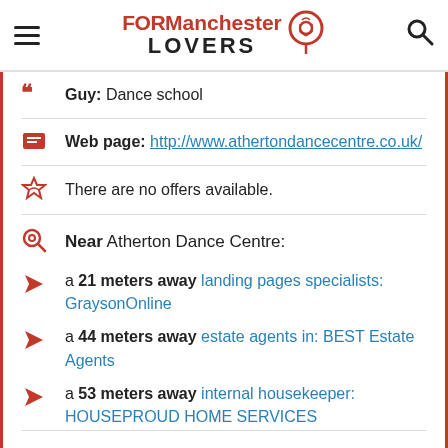FORManchester LOVERS
Guy: Dance school
Web page: http://www.athertondancecentre.co.uk/
There are no offers available.
Near Atherton Dance Centre:
a 21 meters away landing pages specialists: GraysonOnline
a 44 meters away estate agents in: BEST Estate Agents
a 53 meters away internal housekeeper: HOUSEPROUD HOME SERVICES
Are you the owner of the business? PROMOTE IT!